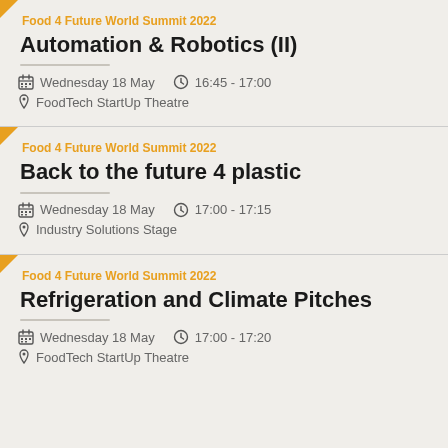Food 4 Future World Summit 2022
Automation & Robotics (II)
Wednesday 18 May  16:45 - 17:00  FoodTech StartUp Theatre
Food 4 Future World Summit 2022
Back to the future 4 plastic
Wednesday 18 May  17:00 - 17:15  Industry Solutions Stage
Food 4 Future World Summit 2022
Refrigeration and Climate Pitches
Wednesday 18 May  17:00 - 17:20  FoodTech StartUp Theatre